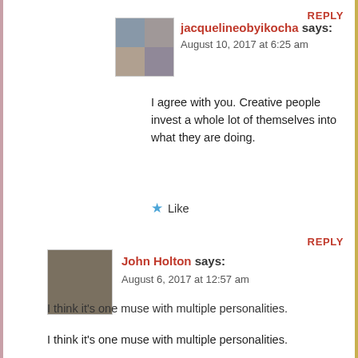REPLY
jacquelineobyikocha says:
August 10, 2017 at 6:25 am
I agree with you. Creative people invest a whole lot of themselves into what they are doing.
Like
REPLY
John Holton says:
August 6, 2017 at 12:57 am
I think it's one muse with multiple personalities.
Liked by 1 person